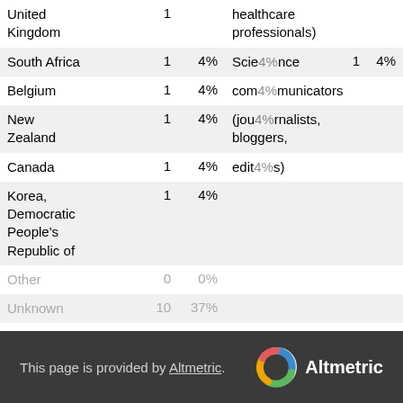| Country/Region | Count | % | Audience type | Count | % |
| --- | --- | --- | --- | --- | --- |
| United Kingdom | 1 |  | healthcare professionals) |  |  |
| South Africa | 1 |  | Science | 1 | 4% |
| Belgium | 1 |  | communicators |  |  |
| New Zealand | 1 |  | (journalists, bloggers, |  |  |
| Canada | 1 |  | editors) |  |  |
| Korea, Democratic People's Republic of | 1 | 4% |  |  |  |
| Other | 0 | 0% |  |  |  |
| Unknown | 10 | 37% |  |  |  |
This page is provided by Altmetric.